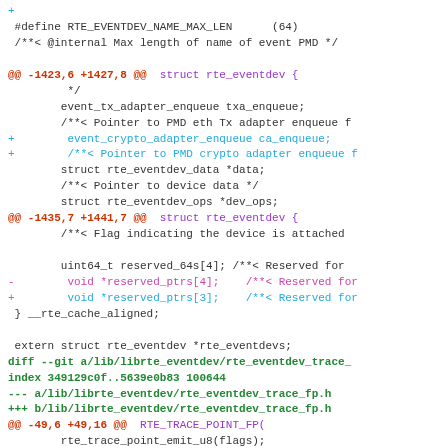Code diff showing changes to rte_eventdev and rte_eventdev_trace_fp.h files, including addition of event_crypto_adapter_enqueue, modification of reserved_ptrs array size, and new RTE_TRACE_POINT_FP entries.